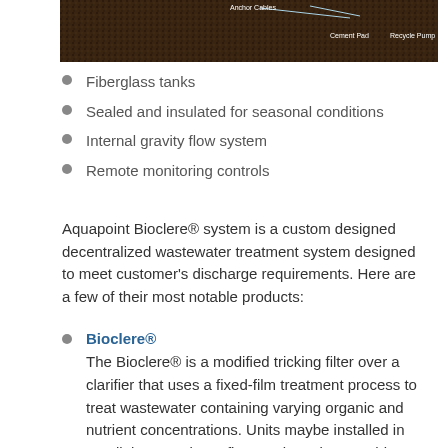[Figure (photo): Dark overhead/aerial photo showing anchor cables, cement pad, and recycle pump labels overlaid on what appears to be a wastewater treatment site.]
Fiberglass tanks
Sealed and insulated for seasonal conditions
Internal gravity flow system
Remote monitoring controls
Aquapoint Bioclere® system is a custom designed decentralized wastewater treatment system designed to meet customer's discharge requirements. Here are a few of their most notable products:
Bioclere®
The Bioclere® is a modified tricking filter over a clarifier that uses a fixed-film treatment process to treat wastewater containing varying organic and nutrient concentrations. Units maybe installed in parallel to treat large flows or in series to achieve high level of treatment.